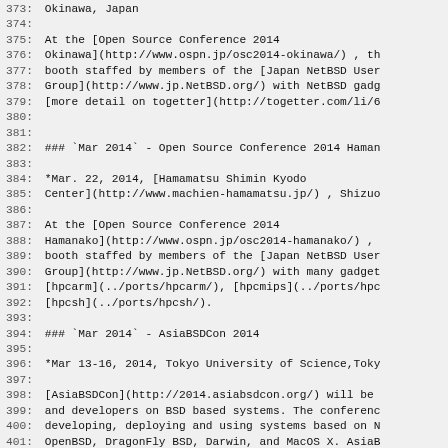373: Okinawa, Japan
374:
375: At the [Open Source Conference 2014
376: Okinawa](http://www.ospn.jp/osc2014-okinawa/) , th
377: booth staffed by members of the [Japan NetBSD User
378: Group](http://www.jp.NetBSD.org/) with NetBSD gadg
379: [more detail on togetter](http://togetter.com/li/6
380:
381:
382: ### `Mar 2014` - Open Source Conference 2014 Haman
383:
384: *Mar. 22, 2014, [Hamamatsu Shimin Kyodo
385: Center](http://www.machien-hamamatsu.jp/) , Shizuo
386:
387: At the [Open Source Conference 2014
388: Hamanako](http://www.ospn.jp/osc2014-hamanako/) ,
389: booth staffed by members of the [Japan NetBSD User
390: Group](http://www.jp.NetBSD.org/) with many gadget
391: [hpcarm](../ports/hpcarm/), [hpcmips](../ports/hpc
392: [hpcsh](../ports/hpcsh/).
393:
394: ### `Mar 2014` - AsiaBSDCon 2014
395:
396: *Mar 13-16, 2014, Tokyo University of Science,Toky
397:
398: [AsiaBSDCon](http://2014.asiabsdcon.org/) will be
399: and developers on BSD based systems. The conferenc
400: developing, deploying and using systems based on N
401: OpenBSD, DragonFly BSD, Darwin, and MacOS X. AsiaB
402: conference and aimed to collect the best technica
403: presentations available to ensure that the latest